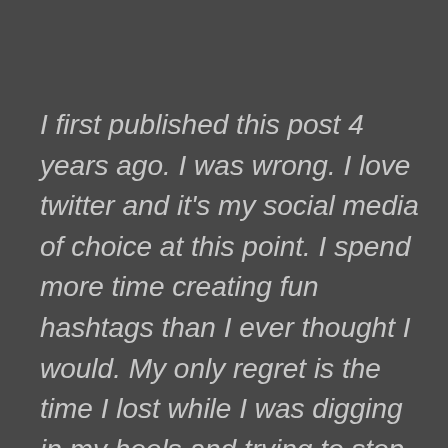I first published this post 4 years ago. I was wrong. I love twitter and it's my social media of choice at this point. I spend more time creating fun hashtags than I ever thought I would. My only regret is the time I lost while I was digging in my heels and trying to stop technology. But now, I embrace the robot revolution and look forward to my chip upgrade.